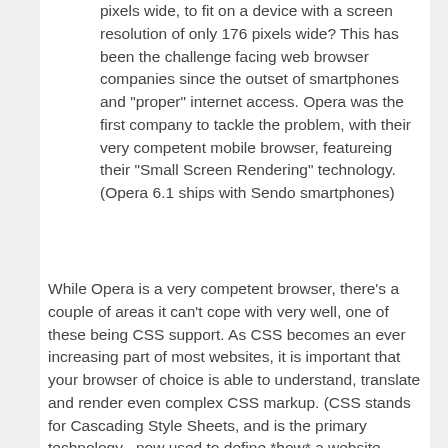pixels wide, to fit on a device with a screen resolution of only 176 pixels wide? This has been the challenge facing web browser companies since the outset of smartphones and "proper" internet access. Opera was the first company to tackle the problem, with their very competent mobile browser, featureing their "Small Screen Rendering" technology. (Opera 6.1 ships with Sendo smartphones)
While Opera is a very competent browser, there's a couple of areas it can't cope with very well, one of these being CSS support. As CSS becomes an ever increasing part of most websites, it is important that your browser of choice is able to understand, translate and render even complex CSS markup. (CSS stands for Cascading Style Sheets, and is the primary technology  now used to define *how* a website should be displayed)
NetFront have taken a very refreshing approach to make their mobile web browser display pages properly - rather than trying to cut out content and markup elements